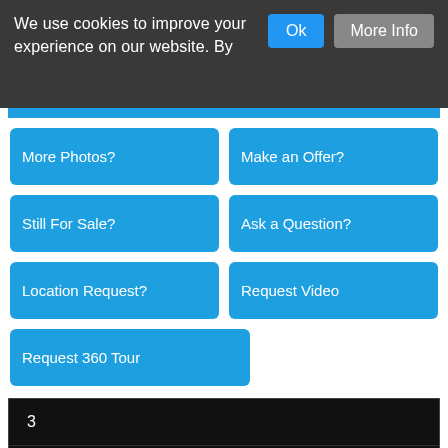We use cookies to improve your experience on our website. By
Ok
More Info
More Photos?
Make an Offer?
Still For Sale?
Ask a Question?
Location Request?
Request Video
Request 360 Tour
| 3 |
| Build: 357m² |
| EPC Co²: Pending |